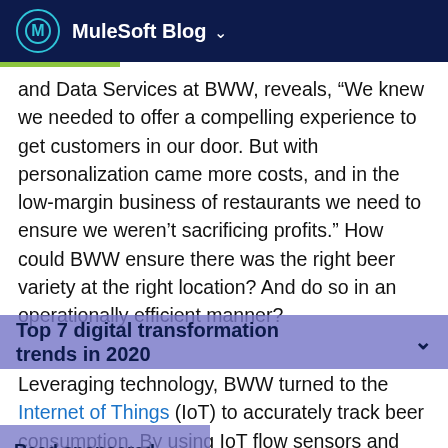MuleSoft Blog
and Data Services at BWW, reveals, “We knew we needed to offer a compelling experience to get customers in our door. But with personalization came more costs, and in the low-margin business of restaurants we need to ensure we weren’t sacrificing profits.” How could BWW ensure there was the right beer variety at the right location? And do so in an operationally efficient manner?
Top 7 digital transformation trends in 2020
Leveraging technology, BWW turned to the Internet of Things (IoT) to accurately track beer consumption. By using IoT flow sensors and MuleSoft, BWW began accurately predicting preferences and optimizing
Read sponsored